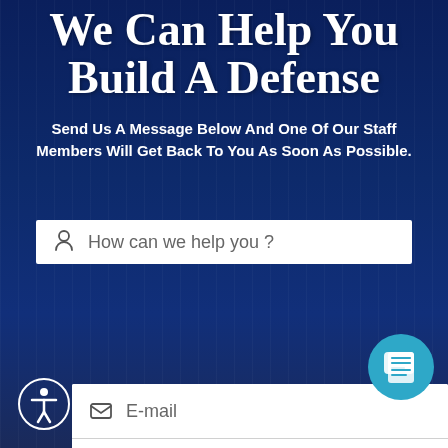We Can Help You Build A Defense
Send Us A Message Below And One Of Our Staff Members Will Get Back To You As Soon As Possible.
[Figure (infographic): Web contact form with input fields: First Name, Last Name, E-mail, Phone Number, How can we help you? Each field has an icon placeholder. Dark blue city background. Accessibility icon bottom-left, chat icon bottom-right.]